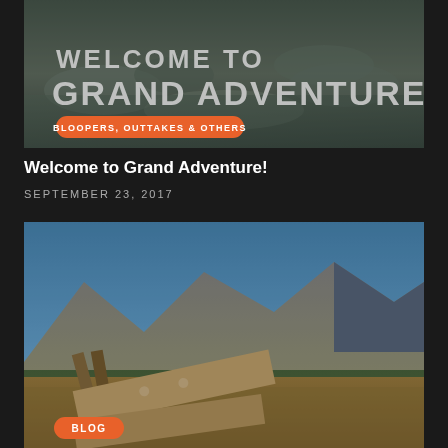[Figure (photo): Outdoor rocky river scene with overlaid text 'WELCOME TO GRAND ADVENTURE!' and an orange badge reading 'BLOOPERS, OUTTAKES & OTHERS']
Welcome to Grand Adventure!
SEPTEMBER 23, 2017
[Figure (photo): Mountain landscape with a fallen wooden trail sign in the foreground and an orange badge reading 'BLOG']